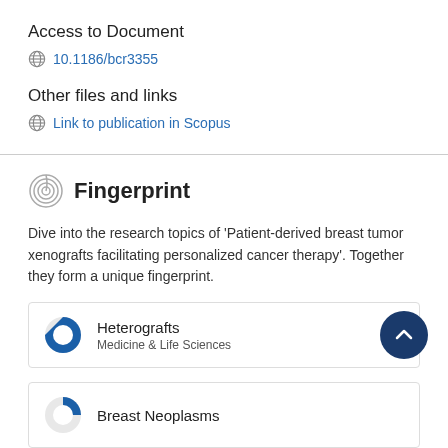Access to Document
10.1186/bcr3355
Other files and links
Link to publication in Scopus
Fingerprint
Dive into the research topics of 'Patient-derived breast tumor xenografts facilitating personalized cancer therapy'. Together they form a unique fingerprint.
Heterografts
Medicine & Life Sciences
Breast Neoplasms